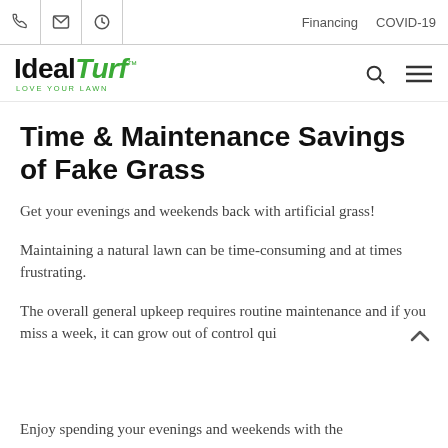Financing  COVID-19
[Figure (logo): Ideal Turf logo with 'Ideal' in black bold and 'Turf' in green italic, with tagline 'LOVE YOUR LAWN']
Time & Maintenance Savings of Fake Grass
Get your evenings and weekends back with artificial grass!
Maintaining a natural lawn can be time-consuming and at times frustrating.
The overall general upkeep requires routine maintenance and if you miss a week, it can grow out of control qui
Enjoy spending your evenings and weekends with the